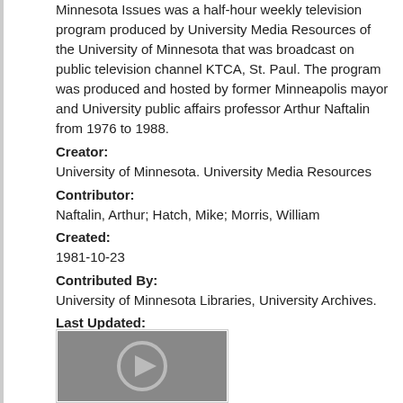Minnesota Issues was a half-hour weekly television program produced by University Media Resources of the University of Minnesota that was broadcast on public television channel KTCA, St. Paul. The program was produced and hosted by former Minneapolis mayor and University public affairs professor Arthur Naftalin from 1976 to 1988.
Creator:
University of Minnesota. University Media Resources
Contributor:
Naftalin, Arthur; Hatch, Mike; Morris, William
Created:
1981-10-23
Contributed By:
University of Minnesota Libraries, University Archives.
Last Updated:
2017-11-28
[Figure (other): Video thumbnail placeholder with play button icon on gray background]